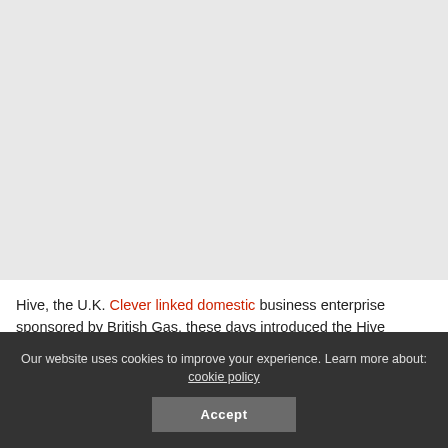[Figure (photo): Large light grey placeholder image area occupying the top portion of the page]
Hive, the U.K. Clever linked domestic business enterprise sponsored by British Gas, these days introduced the Hive Camera,
Our website uses cookies to improve your experience. Learn more about: cookie policy
Accept